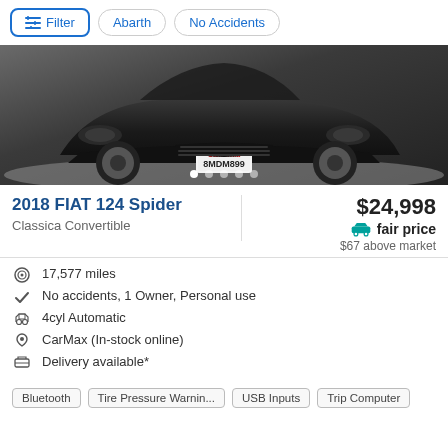Filter | Abarth | No Accidents
[Figure (photo): Front view of a black 2018 FIAT 124 Spider convertible with California license plate 8MDM899, shown in a dealer showroom setting. Five carousel dots are shown at the bottom of the image.]
2018 FIAT 124 Spider
Classica Convertible
$24,998
fair price
$67 above market
17,577 miles
No accidents, 1 Owner, Personal use
4cyl Automatic
CarMax (In-stock online)
Delivery available*
Bluetooth   Tire Pressure Warnin...   USB Inputs   Trip Computer